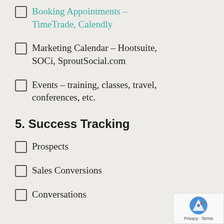Booking Appointments – TimeTrade, Calendly
Marketing Calendar – Hootsuite, SOCi, SproutSocial.com
Events – training, classes, travel, conferences, etc.
5. Success Tracking
Prospects
Sales Conversions
Conversations